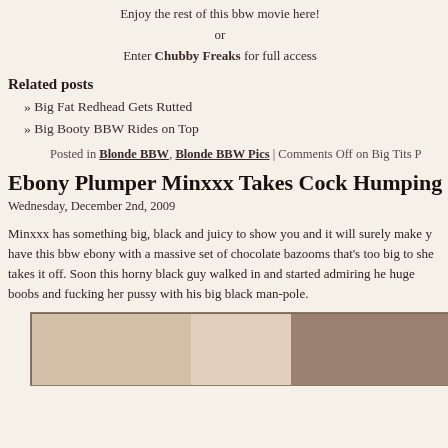Enjoy the rest of this bbw movie here!
or
Enter Chubby Freaks for full access
Related posts
» Big Fat Redhead Gets Rutted
» Big Booty BBW Rides on Top
Posted in Blonde BBW, Blonde BBW Pics | Comments Off on Big Tits P...
Ebony Plumper Minxxx Takes Cock Humping
Wednesday, December 2nd, 2009
Minxxx has something big, black and juicy to show you and it will surely make y... have this bbw ebony with a massive set of chocolate bazooms that's too big to... she takes it off. Soon this horny black guy walked in and started admiring he... huge boobs and fucking her pussy with his big black man-pole.
[Figure (photo): Partial photo of a person, cropped at the bottom of the page]